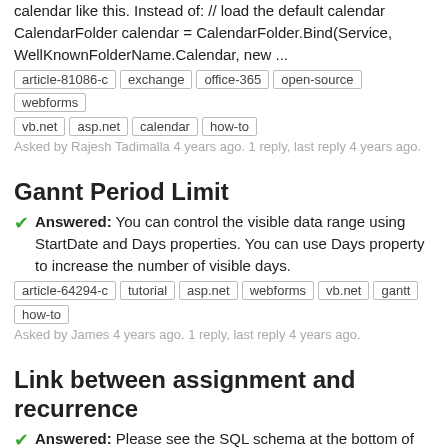calendar like this. Instead of: // load the default calendar CalendarFolder calendar = CalendarFolder.Bind(Service, WellKnownFolderName.Calendar, new ...
article-81086-c, exchange, office-365, open-source, webforms, vb.net, asp.net, calendar, how-to
Asked by Rajesh Tadimalla 4 years ago. 1 reply, last reply 4 years ago.
Gannt Period Limit
Answered: You can control the visible data range using StartDate and Days properties. You can use Days property to increase the number of visible days.
article-64294-c, tutorial, asp.net, webforms, vb.net, gantt, how-to
Asked by James 4 years ago. 1 reply, last reply 4 years ago.
Link between assignment and recurrence
Answered: Please see the SQL schema at the bottom of the article. The recurrence information (serialized rule) is stored in AssignmentRecurrence field (Assignment table). DayPilot uses this